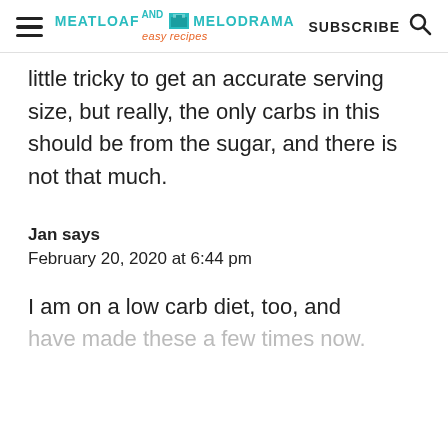MEATLOAF AND MELODRAMA easy recipes | SUBSCRIBE
little tricky to get an accurate serving size, but really, the only carbs in this should be from the sugar, and there is not that much.
Jan says
February 20, 2020 at 6:44 pm
I am on a low carb diet, too, and have made these a few times now.